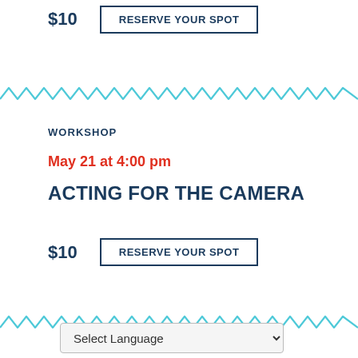$10
RESERVE YOUR SPOT
WORKSHOP
May 21 at 4:00 pm
ACTING FOR THE CAMERA
$10
RESERVE YOUR SPOT
Select Language